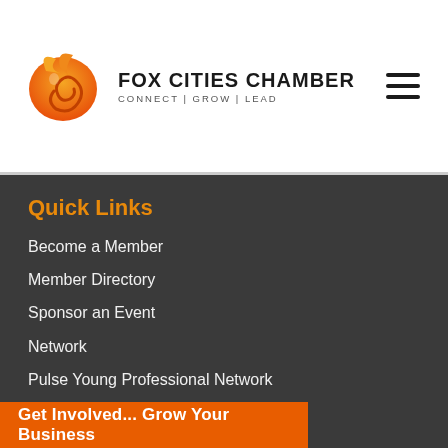[Figure (logo): Fox Cities Chamber logo: orange fox swirl graphic and bold text 'FOX CITIES CHAMBER' with tagline 'CONNECT | GROW | LEAD']
Quick Links
Become a Member
Member Directory
Sponsor an Event
Network
Pulse Young Professional Network
Fox Cities Regional Partnership
Resources
Social Media Guidelines
Get Involved... Grow Your Business